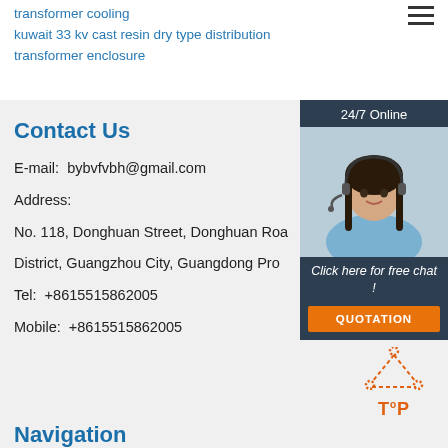transformer cooling
kuwait 33 kv cast resin dry type distribution transformer enclosure
Contact Us
E-mail:  bybvfvbh@gmail.com
Address:
No. 118, Donghuan Street, Donghuan Road District, Guangzhou City, Guangdong Province
Tel:  +8615515862005
Mobile:  +8615515862005
[Figure (photo): 24/7 Online customer support agent photo with chat and quotation button overlay]
[Figure (other): Back to TOP icon with orange dotted triangle and bold TOP text]
Navigation